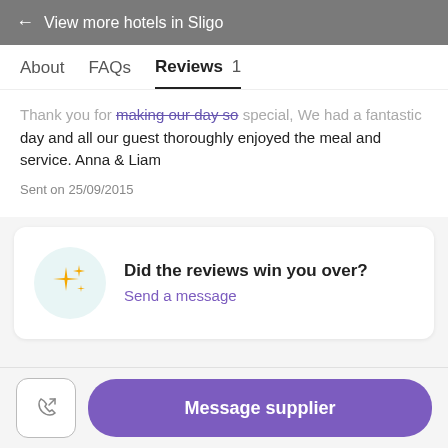← View more hotels in Sligo
About  FAQs  Reviews 1
Thank you for making our day so special, We had a fantastic day and all our guest thoroughly enjoyed the meal and service. Anna & Liam
Sent on 25/09/2015
[Figure (infographic): CTA card with sparkle icon in a light teal circle, heading 'Did the reviews win you over?' and link 'Send a message']
Message supplier